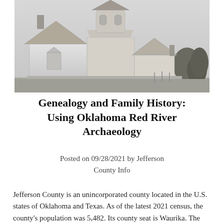[Figure (photo): Black and white photograph of an old wooden church building with a steeple tower, pointed roof, arched window, and trees in the background.]
Genealogy and Family History: Using Oklahoma Red River Archaeology
Posted on 09/28/2021 by Jefferson County Info
Jefferson County is an unincorporated county located in the U.S. states of Oklahoma and Texas. As of the latest 2021 census, the county's population was 5,482. Its county seat is Waurika. The county itself was established